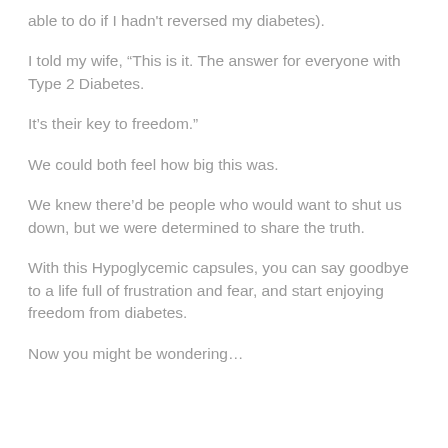able to do if I hadn't reversed my diabetes).
I told my wife, “This is it. The answer for everyone with Type 2 Diabetes.
It’s their key to freedom.”
We could both feel how big this was.
We knew there’d be people who would want to shut us down, but we were determined to share the truth.
With this Hypoglycemic capsules, you can say goodbye to a life full of frustration and fear, and start enjoying freedom from diabetes.
Now you might be wondering…